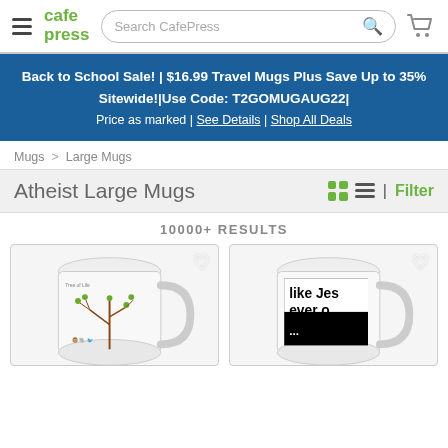CafePress | Search CafePress
Back to School Sale! | $16.99 Travel Mugs Plus Save Up to 35% Sitewide!|Use Code: T2GOMUGAUG22| Price as marked | See Details | Shop All Deals
Mugs > Large Mugs
Atheist Large Mugs
10000+ RESULTS
[Figure (photo): Two white large coffee mugs shown as product listings. Left mug has a Tree of Life illustration. Right mug has text 'like Jes... ever o...' in black and white design.]